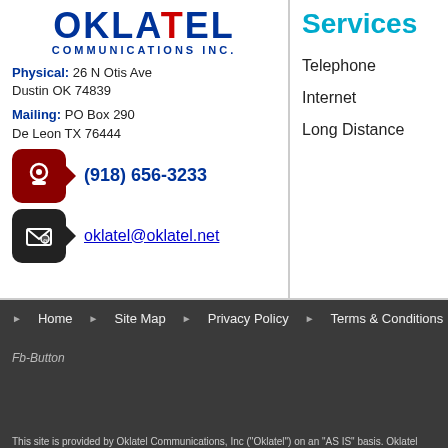[Figure (logo): Oklatel Communications Inc. logo with blue text and red slash]
Physical: 26 N Otis Ave Dustin OK 74839
Mailing: PO Box 290 De Leon TX 76444
(918) 656-3233
oklatel@oklatel.net
Services
Telephone
Internet
Long Distance
Home  Site Map  Privacy Policy  Terms & Conditions
Fb-Button
This site is provided by Oklatel Communications, Inc ("Oklatel") on an "AS IS" basis. Oklatel makes no warranties about the site. To the full extent permissible by applicable law, Oklatel disclaims all warranties, expressed or implied, including consequential damages. When accessing any links contained on this site, you will be leaving Oklatel's site and Oklatel shall not be responsible or liable, directly or indirectly, for any damage or loss caused or alleged to be caused by or claimed infringement under the DMCA, contact Oklatel's designated agent with the US Copyright O